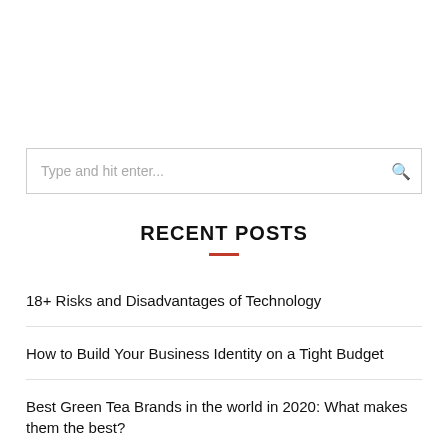[Figure (screenshot): Search input box with placeholder text 'Type and hit enter...' and a search icon on the right]
RECENT POSTS
18+ Risks and Disadvantages of Technology
How to Build Your Business Identity on a Tight Budget
Best Green Tea Brands in the world in 2020: What makes them the best?